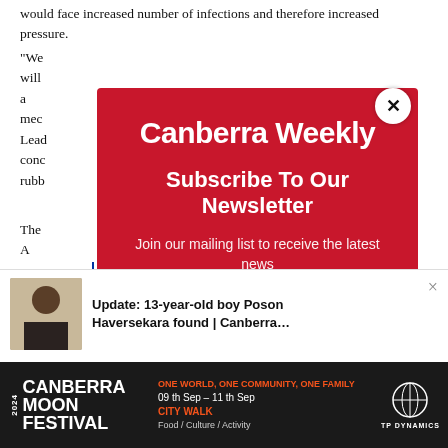would face increased number of infections and therefore increased pressure.
“We ... We will a... ce mech...
Lead... conc... rubb...
The A... Ts to be fr...
[Figure (screenshot): Canberra Weekly newsletter subscription popup overlay on red background with white close button. Title: Canberra Weekly. Subtitle: Subscribe To Our Newsletter. Body: Join our mailing list to receive the latest news straight to your inbox.]
[Figure (screenshot): Browser notification: Update: 13-year-old boy Poson Haversekara found | Canberra... with photo of young boy.]
[Figure (screenshot): Canberra Moon Festival advertisement banner: ONE WORLD, ONE COMMUNITY, ONE FAMILY. 09 th Sep – 11 th Sep. CITY WALK. Food / Culture / Activity. TP Dynamics logo.]